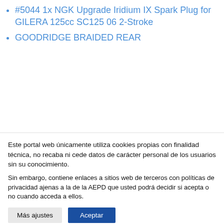#5044 1x NGK Upgrade Iridium IX Spark Plug for GILERA 125cc SC125 06 2-Stroke
GOODRIDGE BRAIDED REAR
Este portal web únicamente utiliza cookies propias con finalidad técnica, no recaba ni cede datos de carácter personal de los usuarios sin su conocimiento.
Sin embargo, contiene enlaces a sitios web de terceros con políticas de privacidad ajenas a la de la AEPD que usted podrá decidir si acepta o no cuando acceda a ellos.